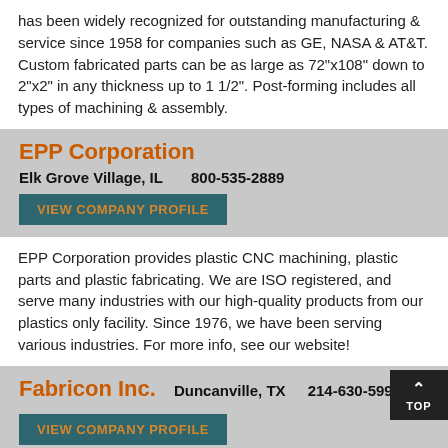has been widely recognized for outstanding manufacturing & service since 1958 for companies such as GE, NASA & AT&T. Custom fabricated parts can be as large as 72"x108" down to 2"x2" in any thickness up to 1 1/2". Post-forming includes all types of machining & assembly.
EPP Corporation
Elk Grove Village, IL     800-535-2889
VIEW COMPANY PROFILE
EPP Corporation provides plastic CNC machining, plastic parts and plastic fabricating. We are ISO registered, and serve many industries with our high-quality products from our plastics only facility. Since 1976, we have been serving various industries. For more info, see our website!
Fabricon Inc.
Duncanville, TX     214-630-5998
VIEW COMPANY PROFILE
We focus on CNC machining, precision machining and parts